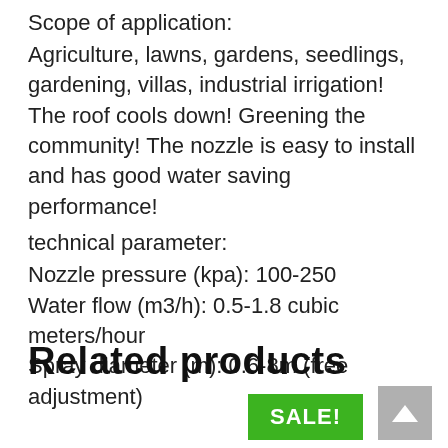Scope of application:
Agriculture, lawns, gardens, seedlings, gardening, villas, industrial irrigation! The roof cools down! Greening the community! The nozzle is easy to install and has good water saving performance!
technical parameter:
Nozzle pressure (kpa): 100-250
Water flow (m3/h): 0.5-1.8 cubic meters/hour
Spray diameter (m): 0.6-8m (free adjustment)
Related products